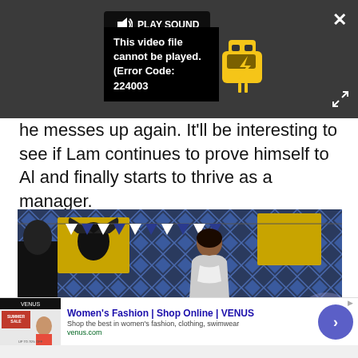[Figure (screenshot): Video player with error: dark background, play sound button, close X button, error message 'This video file cannot be played. (Error Code: 224003)', and an expand icon]
he messes up again. It'll be interesting to see if Lam continues to prove himself to Al and finally starts to thrive as a manager.
[Figure (photo): A still from a video showing a woman in front of colorful decorative flags and banners with a diamond pattern and a heraldic eagle emblem]
[Figure (screenshot): Advertisement: Women's Fashion | Shop Online | VENUS. Shop the best in women's fashion, clothing, swimwear. venus.com. With thumbnail image of summer sale and a call-to-action arrow button.]